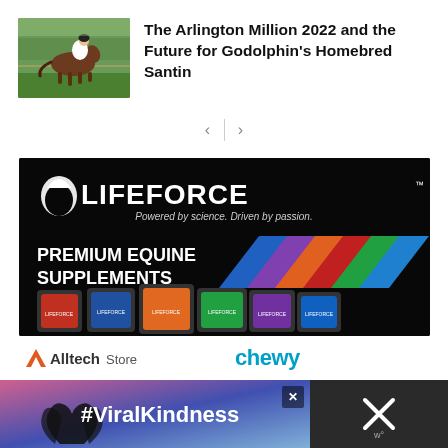The Arlington Million 2022 and the Future for Godolphin's Homebred Santin
[Figure (photo): Horse racing photo showing a jockey on a brown horse galloping on a green track]
[Figure (infographic): Lifeforce Premium Equine Supplements advertisement on black background with colorful stripes and product bags]
[Figure (logo): Alltech Store logo]
[Figure (logo): Chewy logo]
[Figure (infographic): Bottom advertisement banner with heart hands silhouette and #ViralKindness text on gradient background with close button]